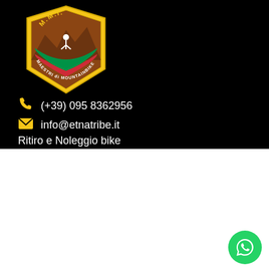[Figure (logo): M.M.I. Maestri di Mountainbike shield logo with colorful crest on black background]
(+39) 095 8362956
info@etnatribe.it
Ritiro e Noleggio bike
We use cookies on our website to give you the most relevant experience by remembering your preferences and repeat visits. By clicking “Accept All”, you consent to the use of ALL the cookies. However, you may visit "Cookie Settings" to provide a controlled consent.
[Figure (other): Cookie Settings button (grey) and Accept All button (red)]
[Figure (other): WhatsApp green circle icon button in bottom right corner]